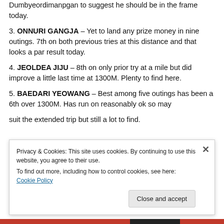Dumbyeordimanpgan to suggest he should be in the frame today.
3. ONNURI GANGJA – Yet to land any prize money in nine outings. 7th on both previous tries at this distance and that looks a par result today.
4. JEOLDEA JIJU – 8th on only prior try at a mile but did improve a little last time at 1300M. Plenty to find here.
5. BAEDARI YEOWANG – Best among five outings has been a 6th over 1300M. Has run on reasonably ok so may suit the extended trip but still a lot to find.
Privacy & Cookies: This site uses cookies. By continuing to use this website, you agree to their use.
To find out more, including how to control cookies, see here: Cookie Policy